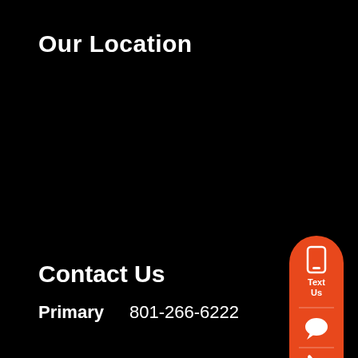Our Location
[Figure (infographic): Orange pill-shaped widget on right side with phone/text icon at top labeled 'Text Us', a chat bubble icon in middle, and a phone call icon at bottom. Below it is a blue circle with a chat bubble icon containing three dots.]
Contact Us
Primary    801-266-6222